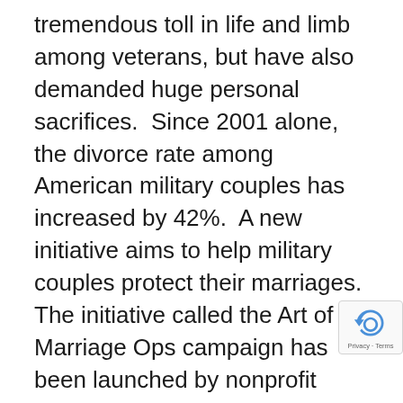tremendous toll in life and limb among veterans, but have also demanded huge personal sacrifices.  Since 2001 alone, the divorce rate among American military couples has increased by 42%.  A new initiative aims to help military couples protect their marriages.
The initiative called the Art of Marriage Ops campaign has been launched by nonprofit organizations Family Life and Military Ministry.  According to FamilyLife, many times, spouses of veterans labor under the misconception that when a veteran returns from active combat, he can just pick up his life from where he left off.  Unfortunately, many military couples find that that's actually not true at all.
The Art of Marriage Ops claims to give couples the chance to rediscover each other, and reclaim the relationship.  The program is based on advice from
[Figure (other): reCAPTCHA badge with Privacy - Terms text]